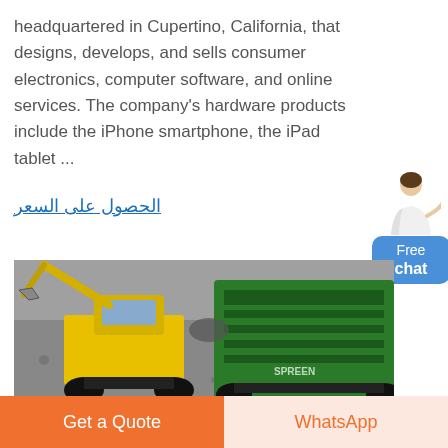headquartered in Cupertino, California, that designs, develops, and sells consumer electronics, computer software, and online services. The company's hardware products include the iPhone smartphone, the iPad tablet ...
الحصول على السعر
[Figure (photo): Yellow excavator and green industrial machinery/screening equipment working on a gravel/mining site, aerial/side view]
Get a Quote
WhatsApp